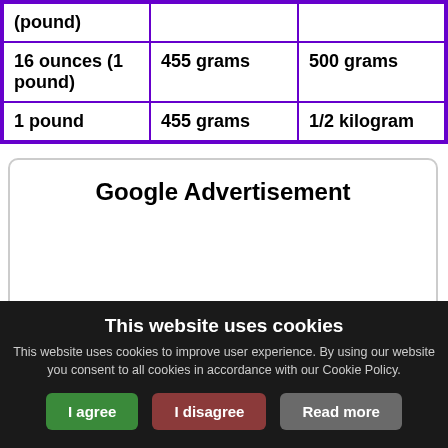| (pound) |  |  |
| 16 ounces (1 pound) | 455 grams | 500 grams |
| 1 pound | 455 grams | 1/2 kilogram |
[Figure (other): Google Advertisement placeholder box with text 'Google Advertisement']
This website uses cookies
This website uses cookies to improve user experience. By using our website you consent to all cookies in accordance with our Cookie Policy.